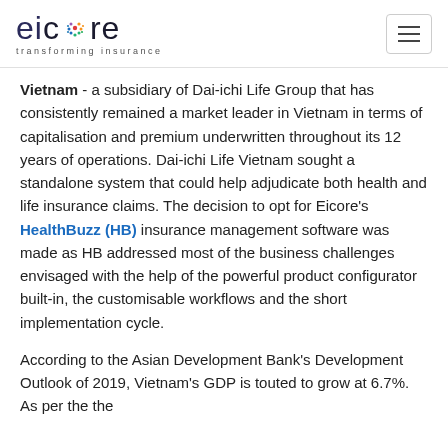eicore - transforming insurance
Vietnam - a subsidiary of Dai-ichi Life Group that has consistently remained a market leader in Vietnam in terms of capitalisation and premium underwritten throughout its 12 years of operations. Dai-ichi Life Vietnam sought a standalone system that could help adjudicate both health and life insurance claims. The decision to opt for Eicore's HealthBuzz (HB) insurance management software was made as HB addressed most of the business challenges envisaged with the help of the powerful product configurator built-in, the customisable workflows and the short implementation cycle.
According to the Asian Development Bank's Development Outlook of 2019, Vietnam's GDP is touted to grow at 6.7%. As per the the